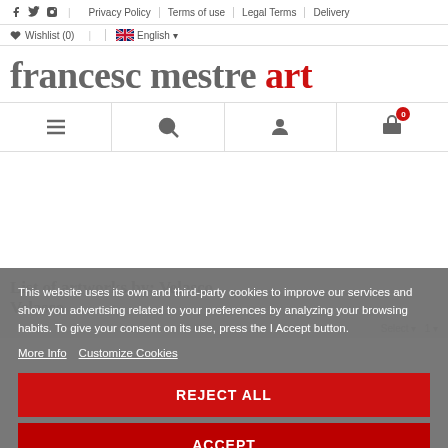francesc mestre art — navigation header with social icons, privacy policy, terms of use, legal terms, delivery links, wishlist, English language selector, menu, search, account, cart icons
List of artworks by: Velasco, Velasco
This website uses its own and third-party cookies to improve our services and show you advertising related to your preferences by analyzing your browsing habits. To give your consent on its use, press the I Accept button.
More Info   Customize Cookies
REJECT ALL
ACCEPT